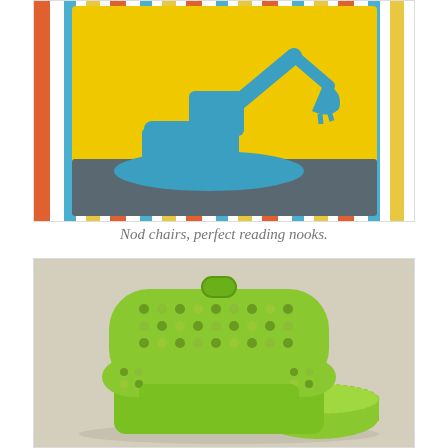[Figure (photo): A yellow pillow with a blue excavator silhouette on a gray dirt mound, resting against a colorful striped fabric background with red, blue, white, and orange vertical stripes.]
Nod chairs, perfect reading nooks.
[Figure (photo): A lime green children's Nod chair with polka-dot patterned backrest and armrests, with a matching green round ottoman, set against a beige background.]